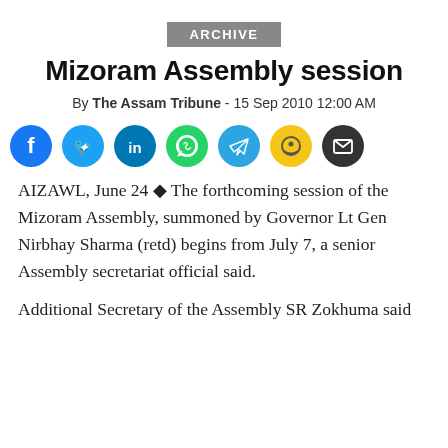ARCHIVE
Mizoram Assembly session
By The Assam Tribune - 15 Sep 2010 12:00 AM
[Figure (infographic): Social media share icons: Facebook, Twitter, LinkedIn, WhatsApp, Telegram, Snapchat, Email]
AIZAWL, June 24 ◆ The forthcoming session of the Mizoram Assembly, summoned by Governor Lt Gen Nirbhay Sharma (retd) begins from July 7, a senior Assembly secretariat official said.
Additional Secretary of the Assembly SR Zokhuma said